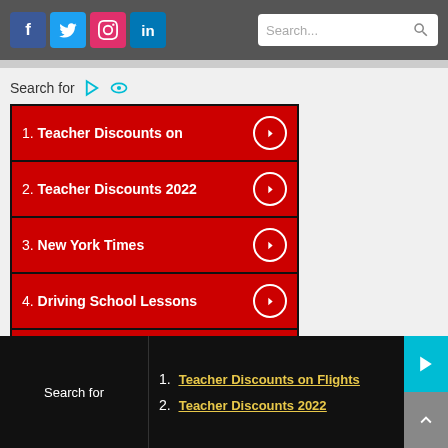Social icons: f, Twitter, Instagram, in | Search bar
Search for
1. Teacher Discounts on
2. Teacher Discounts 2022
3. New York Times
4. Driving School Lessons
5. Teacher
Search for
1. Teacher Discounts on Flights
2. Teacher Discounts 2022